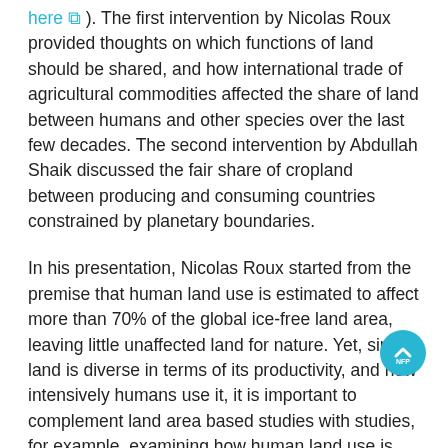here ). The first intervention by Nicolas Roux provided thoughts on which functions of land should be shared, and how international trade of agricultural commodities affected the share of land between humans and other species over the last few decades. The second intervention by Abdullah Shaik discussed the fair share of cropland between producing and consuming countries constrained by planetary boundaries.
In his presentation, Nicolas Roux started from the premise that human land use is estimated to affect more than 70% of the global ice-free land area, leaving little unaffected land for nature. Yet, since land is diverse in terms of its productivity, and how intensively humans use it, it is important to complement land area based studies with studies, for example, examining how human land use is affecting ecosystem functions, when seeking to measure how benefits are shared between humans and other species. Net primary production (NPP) is one of those ecosystem functions, which play a major role in the functioning of land ecosystems. NPP is the amount of biomass (expressed as Carbon, dry matter